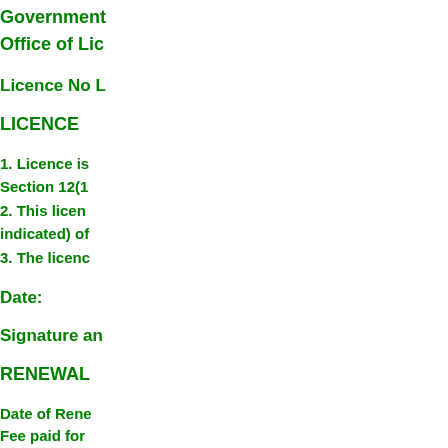Government
Office of Lic
Licence No L
LICENCE
1. Licence is
Section 12(1
2. This licen
indicated) of
3. The licenc
Date:
Signature an
RENEWAL
Date of Rene
Fee paid for
Date of Expi
1.
2
3